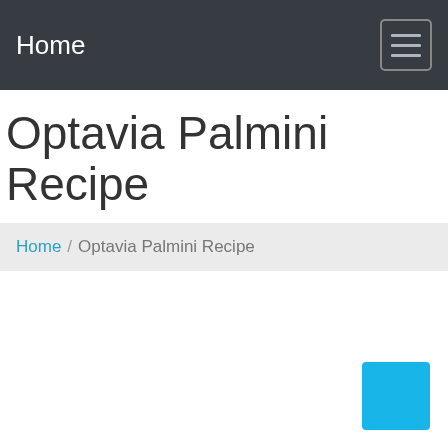Home
Optavia Palmini Recipe
Home / Optavia Palmini Recipe